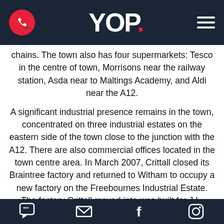YOP.
chains. The town also has four supermarkets: Tesco in the centre of town, Morrisons near the railway station, Asda near to Maltings Academy, and Aldi near the A12.
A significant industrial presence remains in the town, concentrated on three industrial estates on the eastern side of the town close to the junction with the A12. There are also commercial offices located in the town centre area. In March 2007, Crittall closed its Braintree factory and returned to Witham to occupy a new factory on the Freebournes Industrial Estate. The factory Crittall moved into was built for J.L. French in 2001, but never used for production. The new Crittall factory is visible on the right hand side of the road exiting Witham towards Colchester
chat, email, facebook, instagram icons